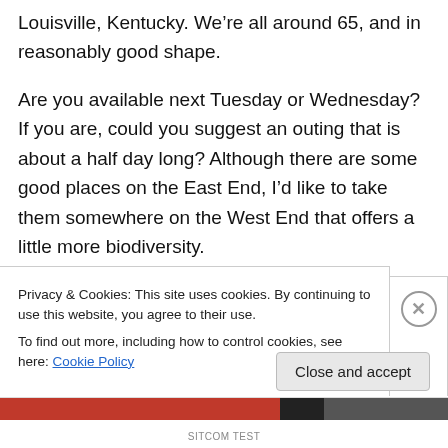Louisville, Kentucky. We’re all around 65, and in reasonably good shape.
Are you available next Tuesday or Wednesday? If you are, could you suggest an outing that is about a half day long? Although there are some good places on the East End, I’d like to take them somewhere on the West End that offers a little more biodiversity.
Thank you and let me know.
Richard
P.S. By the way, can you let me know what you
Privacy & Cookies: This site uses cookies. By continuing to use this website, you agree to their use.
To find out more, including how to control cookies, see here: Cookie Policy